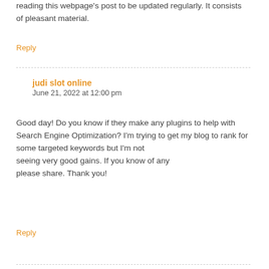reading this webpage's post to be updated regularly. It consists of pleasant material.
Reply
judi slot online
June 21, 2022 at 12:00 pm
Good day! Do you know if they make any plugins to help with Search Engine Optimization? I'm trying to get my blog to rank for some targeted keywords but I'm not seeing very good gains. If you know of any please share. Thank you!
Reply